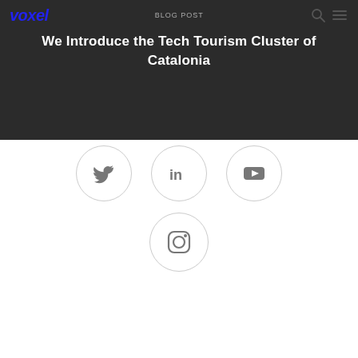voxel | BLOG POST
We Introduce the Tech Tourism Cluster of Catalonia
[Figure (infographic): Four social media icon circles: Twitter (bird icon), LinkedIn (in icon), YouTube (play button icon), Instagram (camera icon) arranged with three on top row and one centered below]